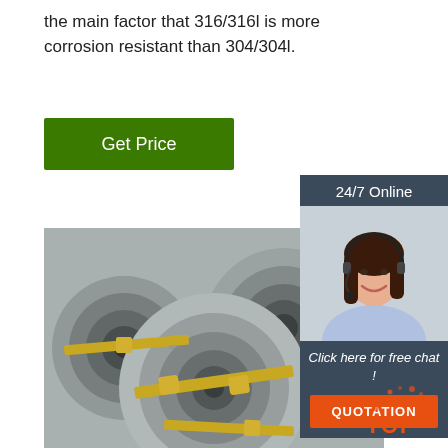the main factor that 316/316l is more corrosion resistant than 304/304l.
[Figure (other): Green 'Get Price' button]
[Figure (other): Sidebar widget with '24/7 Online' header, photo of woman with headset, 'Click here for free chat!' text, and orange 'QUOTATION' button]
[Figure (photo): Photo of stacked stainless steel coils/rolls bound with metal straps]
[Figure (logo): Orange 'TOP' logo with dotted arc in bottom right corner]